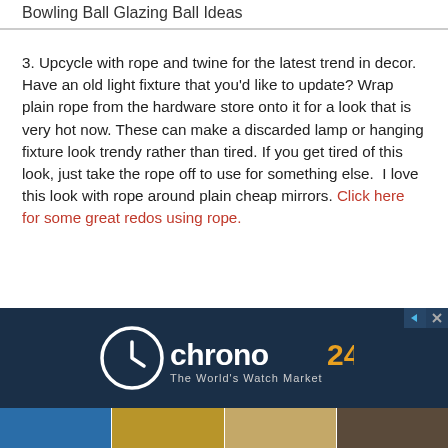Bowling Ball Glazing Ball Ideas
3. Upcycle with rope and twine for the latest trend in decor. Have an old light fixture that you'd like to update? Wrap plain rope from the hardware store onto it for a look that is very hot now. These can make a discarded lamp or hanging fixture look trendy rather than tired. If you get tired of this look, just take the rope off to use for something else.  I love this look with rope around plain cheap mirrors. Click here for some great redos using rope.
[Figure (other): Chrono24 advertisement banner — dark navy background with Chrono24 logo and tagline 'The World's Watch Market']
[Figure (photo): Row of watch product photos at bottom of page]